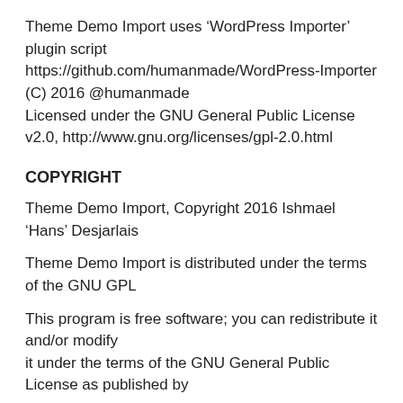Theme Demo Import uses ‘WordPress Importer’ plugin script https://github.com/humanmade/WordPress-Importer
(C) 2016 @humanmade
Licensed under the GNU General Public License v2.0, http://www.gnu.org/licenses/gpl-2.0.html
COPYRIGHT
Theme Demo Import, Copyright 2016 Ishmael ‘Hans’ Desjarlais
Theme Demo Import is distributed under the terms of the GNU GPL
This program is free software; you can redistribute it and/or modify
it under the terms of the GNU General Public License as published by